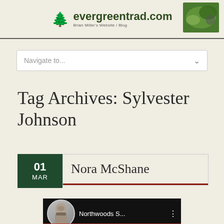evergreentrad.com — Brian Miller's Website / Blog
Navigate to...
Tag Archives: Sylvester Johnson
01 MAR
Nora McShane
[Figure (screenshot): Video thumbnail showing a bearded man avatar with text 'Northwoods S...' and a menu icon on a dark background]